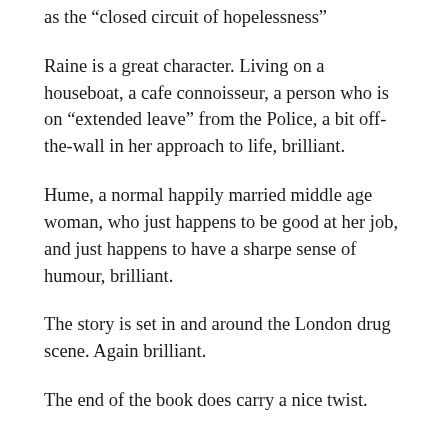as the “closed circuit of hopelessness”
Raine is a great character. Living on a houseboat, a cafe connoisseur, a person who is on “extended leave” from the Police, a bit off-the-wall in her approach to life, brilliant.
Hume, a normal happily married middle age woman, who just happens to be good at her job, and just happens to have a sharpe sense of humour, brilliant.
The story is set in and around the London drug scene. Again brilliant.
The end of the book does carry a nice twist.